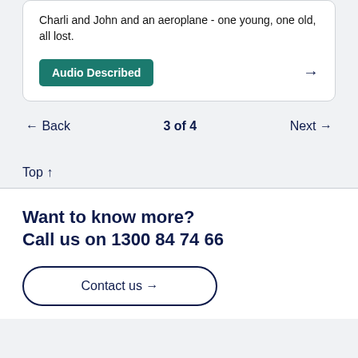Charli and John and an aeroplane - one young, one old, all lost.
Audio Described
← Back   3 of 4   Next →
Top ↑
Want to know more?
Call us on 1300 84 74 66
Contact us →